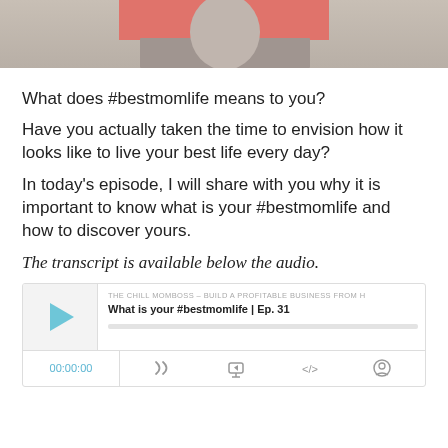[Figure (photo): Top banner image showing MOMBOSS ACADEMY logo on a pink/salmon rectangle over a light background with a partial figure visible. Background appears to be an outdoor scene.]
What does #bestmomlife means to you?
Have you actually taken the time to envision how it looks like to live your best life every day?
In today's episode, I will share with you why it is important to know what is your #bestmomlife and how to discover yours.
The transcript is available below the audio.
[Figure (screenshot): Audio player widget showing podcast episode: THE CHILL MOMBOSS - BUILD A PROFITABLE BUSINESS FROM H | What is your #bestmomlife | Ep. 31. Has a play button, progress bar, time display 00:00:00, and control icons.]